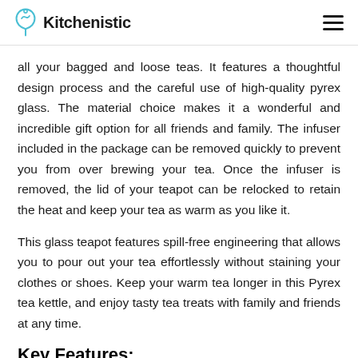Kitchenistic
all your bagged and loose teas. It features a thoughtful design process and the careful use of high-quality pyrex glass. The material choice makes it a wonderful and incredible gift option for all friends and family. The infuser included in the package can be removed quickly to prevent you from over brewing your tea. Once the infuser is removed, the lid of your teapot can be relocked to retain the heat and keep your tea as warm as you like it.
This glass teapot features spill-free engineering that allows you to pour out your tea effortlessly without staining your clothes or shoes. Keep your warm tea longer in this Pyrex tea kettle, and enjoy tasty tea treats with family and friends at any time.
Key Features: